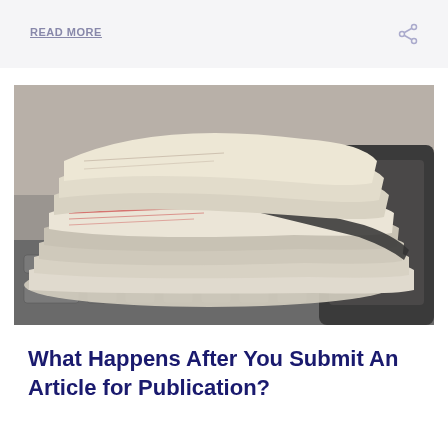READ MORE
[Figure (photo): Stack of newspapers on a laptop keyboard with a phone in the background]
What Happens After You Submit An Article for Publication?